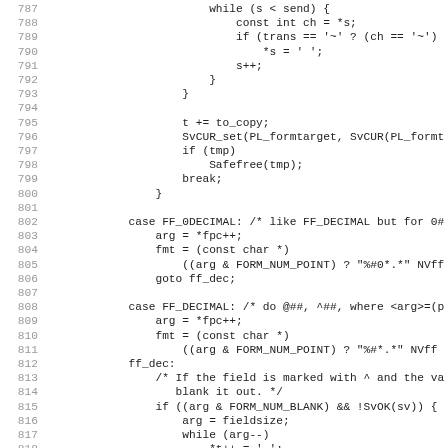[Figure (screenshot): Source code listing in monospace font, lines 787-818, showing C/Perl code with line numbers on the left in gray and code on the right in dark color.]